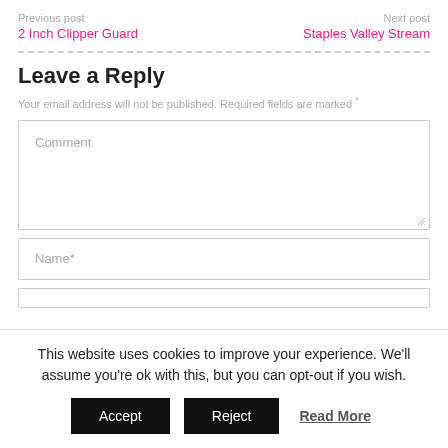Previous post
2 Inch Clipper Guard
Next post
Staples Valley Stream
Leave a Reply
Your email address will not be published. Required fields are marked *
Comment
Name*
This website uses cookies to improve your experience. We'll assume you're ok with this, but you can opt-out if you wish.
Accept | Reject | Read More